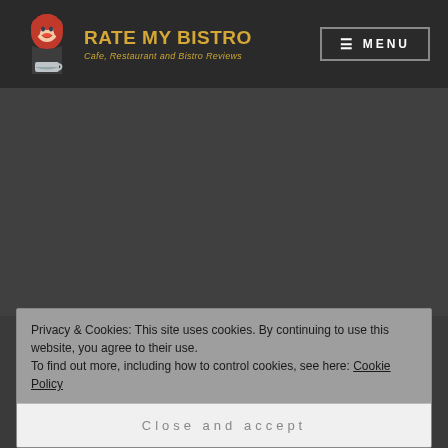RATE MY BISTRO — Cafe, Restaurant and Bistro Reviews
Privacy & Cookies: This site uses cookies. By continuing to use this website, you agree to their use. To find out more, including how to control cookies, see here: Cookie Policy
Close and accept